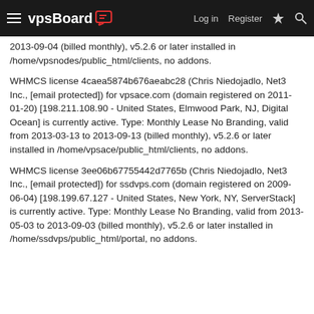vpsBoard — Log in | Register
2013-09-04 (billed monthly), v5.2.6 or later installed in /home/vpsnodes/public_html/clients, no addons.
WHMCS license 4caea5874b676aeabc28 (Chris Niedojadlo, Net3 Inc., [email protected]) for vpsace.com (domain registered on 2011-01-20) [198.211.108.90 - United States, Elmwood Park, NJ, Digital Ocean] is currently active. Type: Monthly Lease No Branding, valid from 2013-03-13 to 2013-09-13 (billed monthly), v5.2.6 or later installed in /home/vpsace/public_html/clients, no addons.
WHMCS license 3ee06b67755442d7765b (Chris Niedojadlo, Net3 Inc., [email protected]) for ssdvps.com (domain registered on 2009-06-04) [198.199.67.127 - United States, New York, NY, ServerStack] is currently active. Type: Monthly Lease No Branding, valid from 2013-05-03 to 2013-09-03 (billed monthly), v5.2.6 or later installed in /home/ssdvps/public_html/portal, no addons.